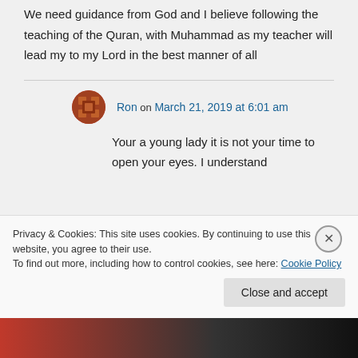We need guidance from God and I believe following the teaching of the Quran, with Muhammad as my teacher will lead my to my Lord in the best manner of all
Ron on March 21, 2019 at 6:01 am
Your a young lady it is not your time to open your eyes. I understand
Privacy & Cookies: This site uses cookies. By continuing to use this website, you agree to their use.
To find out more, including how to control cookies, see here: Cookie Policy